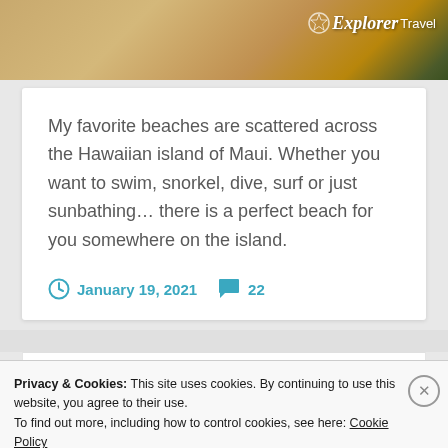[Figure (photo): Sandy beach background photo with green vegetation visible in upper right corner. Explorer Travel logo overlaid in top right.]
My favorite beaches are scattered across the Hawaiian island of Maui. Whether you want to swim, snorkel, dive, surf or just sunbathing... there is a perfect beach for you somewhere on the island.
January 19, 2021  22
Privacy & Cookies: This site uses cookies. By continuing to use this website, you agree to their use.
To find out more, including how to control cookies, see here: Cookie Policy
Close and accept